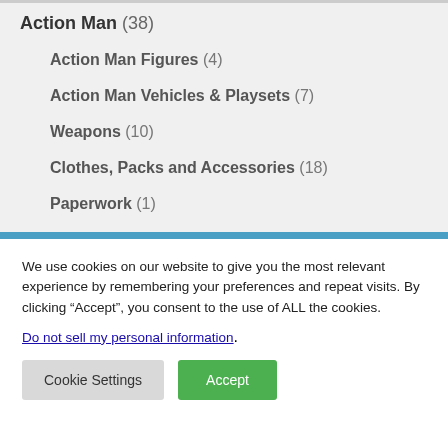Action Man (38)
Action Man Figures (4)
Action Man Vehicles & Playsets (7)
Weapons (10)
Clothes, Packs and Accessories (18)
Paperwork (1)
We use cookies on our website to give you the most relevant experience by remembering your preferences and repeat visits. By clicking “Accept”, you consent to the use of ALL the cookies.
Do not sell my personal information.